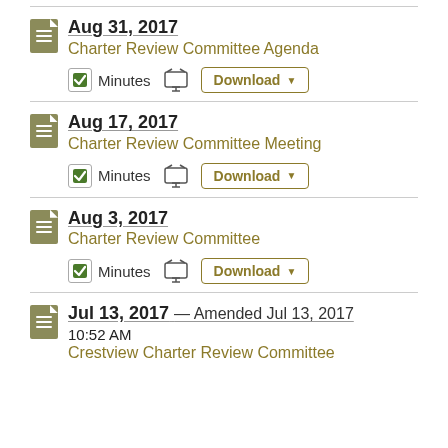Aug 31, 2017 — Charter Review Committee Agenda — Minutes, Download
Aug 17, 2017 — Charter Review Committee Meeting — Minutes, Download
Aug 3, 2017 — Charter Review Committee — Minutes, Download
Jul 13, 2017 — Amended Jul 13, 2017 10:52 AM — Crestview Charter Review Committee